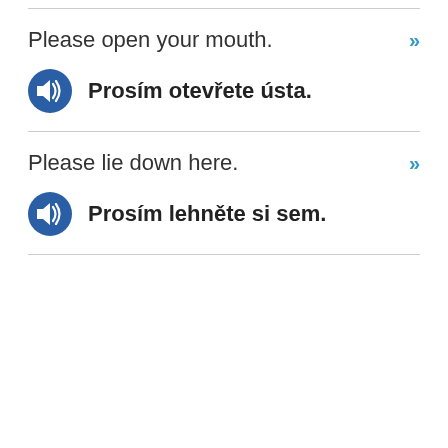Please open your mouth.
Prosím otevřete ústa.
Please lie down here.
Prosím lehněte si sem.